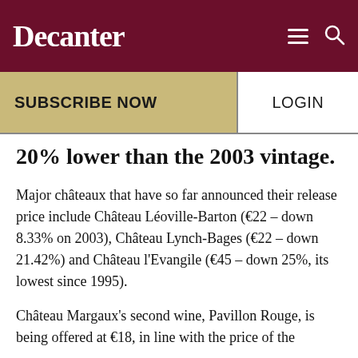Decanter
SUBSCRIBE NOW
LOGIN
20% lower than the 2003 vintage.
Major châteaux that have so far announced their release price include Château Léoville-Barton (€22 – down 8.33% on 2003), Château Lynch-Bages (€22 – down 21.42%) and Château l'Evangile (€45 – down 25%, its lowest since 1995).
Château Margaux's second wine, Pavillon Rouge, is being offered at €18, in line with the price of the